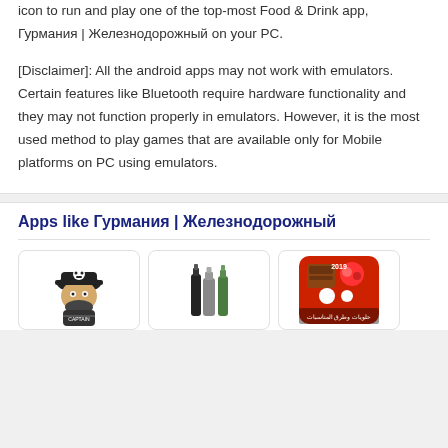icon to run and play one of the top-most Food & Drink app, Гурмания | Железнодорожный on your PC.
[Disclaimer]: All the android apps may not work with emulators. Certain features like Bluetooth require hardware functionality and they may not function properly in emulators. However, it is the most used method to play games that are available only for Mobile platforms on PC using emulators.
Apps like Гурмания | Железнодорожный
[Figure (illustration): Pirate captain cartoon character logo]
[Figure (illustration): Three bottles (black, gray, green) silhouette illustration]
[Figure (photo): Food app icon showing desserts/chocolates with Arabic text]